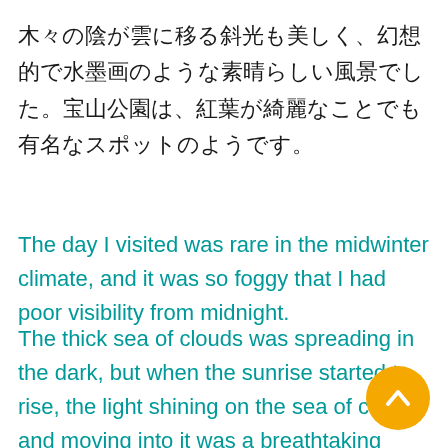木々の陰が雲に移る斜光も美しく、幻想的で水墨画のような素晴らしい風景でした。宝山公園は、紅葉が綺麗なことでも有名なスポットのようです。
The day I visited was rare in the midwinter climate, and it was so foggy that I had poor visibility from midnight.
The thick sea of clouds was spreading in the dark, but when the sunrise started to rise, the light shining on the sea of clouds and moving into it was a breathtaking sight.
[Figure (illustration): A circular yellow/amber scroll-to-top button with an upward pointing chevron arrow, positioned at bottom right.]